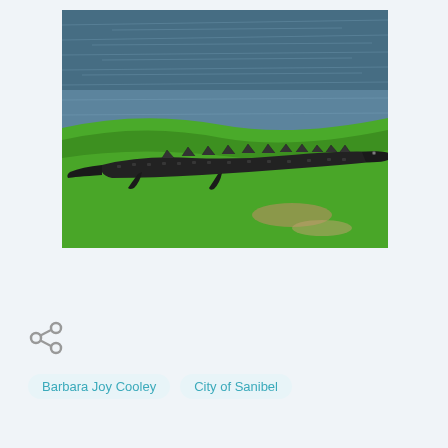[Figure (photo): A large alligator resting on a grassy bank beside a body of water. The alligator is facing right, its dark scaly body partially on the grass and near the water's edge. The background shows rippling water and bright green grass under sunlight.]
[Figure (other): Share icon (three connected dots / social share symbol) in gray]
Barbara Joy Cooley   City of Sanibel